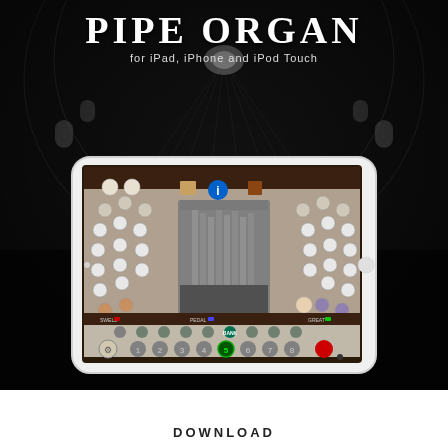PIPE ORGAN
for iPad, iPhone and iPod Touch
[Figure (screenshot): Screenshot of Pipe Organ app on an iPad, showing organ stop knobs on left and right, a central pipe organ image, preset buttons numbered 1-8 at the bottom, and various controls including a settings gear, bank selector, and record button.]
DOWNLOAD